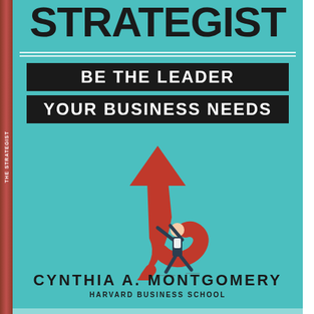STRATEGIST
BE THE LEADER YOUR BUSINESS NEEDS
[Figure (illustration): A small human figure in dark suit carrying/lifting a large red upward-pointing arrow, walking forward against a teal background. The arrow curves at the bottom like a tail. Shadow lines appear beneath the figure's feet.]
CYNTHIA A. MONTGOMERY
HARVARD BUSINESS SCHOOL